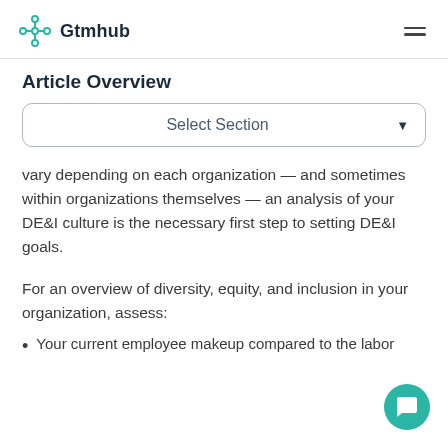Gtmhub
Article Overview
Select Section
vary depending on each organization — and sometimes within organizations themselves — an analysis of your DE&I culture is the necessary first step to setting DE&I goals.
For an overview of diversity, equity, and inclusion in your organization, assess:
Your current employee makeup compared to the labor